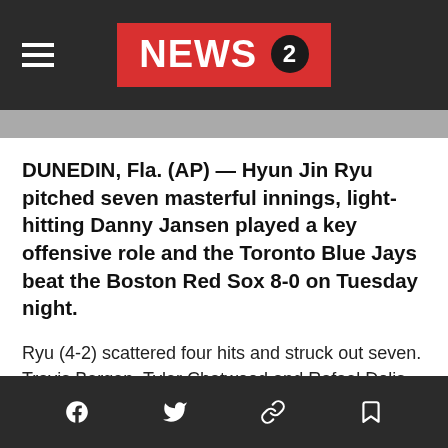NEWS 2
DUNEDIN, Fla. (AP) — Hyun Jin Ryu pitched seven masterful innings, light-hitting Danny Jansen played a key offensive role and the Toronto Blue Jays beat the Boston Red Sox 8-0 on Tuesday night.
Ryu (4-2) scattered four hits and struck out seven. Travis Bergen, Tyler Chatwood and Rafael Dolis completed the five-hitter.
“It was vintage Ryu,” Toronto manager Charlie Montoyo said. “For him to go seven innings against that lineup, that’s a pretty good lineup.”
Social share icons: Facebook, Twitter, Link, Bookmark